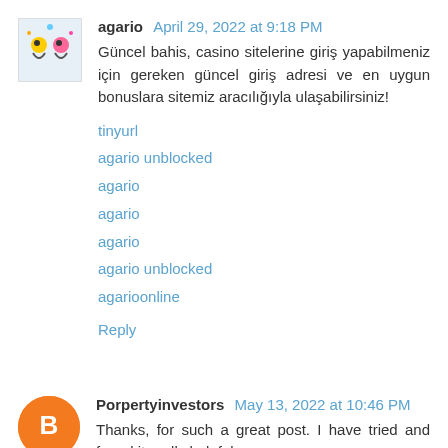agario April 29, 2022 at 9:18 PM
Güncel bahis, casino sitelerine giriş yapabilmeniz için gereken güncel giriş adresi ve en uygun bonuslara sitemiz aracılığıyla ulaşabilirsiniz!
tinyurl
agario unblocked
agario
agario
agario
agario unblocked
agarioonline
Reply
Porpertyinvestors May 13, 2022 at 10:46 PM
Thanks, for such a great post. I have tried and found it really helpful
If You are Looking For Best Property Dealers in Faridabad then You can visit Property Investors. They Deals in